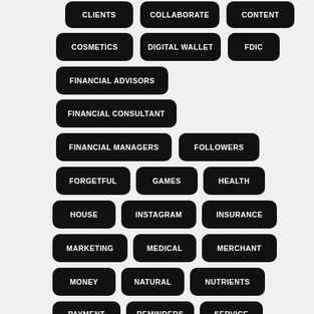[Figure (infographic): Tag cloud of financial and digital terms displayed as white text on black rounded-rectangle buttons arranged in a grid-like layout. Tags include: CLIENTS, COLLABORATE, CONTENT, COSMETICS, DIGITAL WALLET, FDIC, FINANCIAL ADVISORS, FINANCIAL CONSULTANT, FINANCIAL MANAGERS, FOLLOWERS, FORGETFUL, GAMES, HEALTH, HOUSE, INSTAGRAM, INSURANCE, MARKETING, MEDICAL, MERCHANT, MONEY, NATURAL, NUTRIENTS, PAYMENT, REMINDERS, SERVICE]